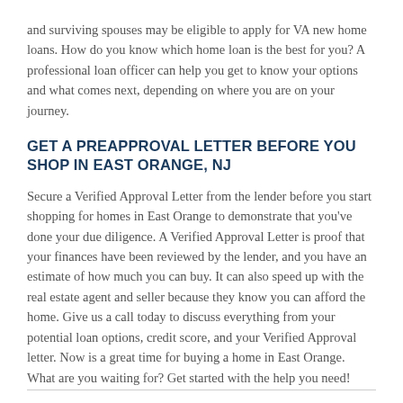and surviving spouses may be eligible to apply for VA new home loans. How do you know which home loan is the best for you? A professional loan officer can help you get to know your options and what comes next, depending on where you are on your journey.
GET A PREAPPROVAL LETTER BEFORE YOU SHOP IN EAST ORANGE, NJ
Secure a Verified Approval Letter from the lender before you start shopping for homes in East Orange to demonstrate that you've done your due diligence. A Verified Approval Letter is proof that your finances have been reviewed by the lender, and you have an estimate of how much you can buy. It can also speed up with the real estate agent and seller because they know you can afford the home. Give us a call today to discuss everything from your potential loan options, credit score, and your Verified Approval letter. Now is a great time for buying a home in East Orange. What are you waiting for? Get started with the help you need!